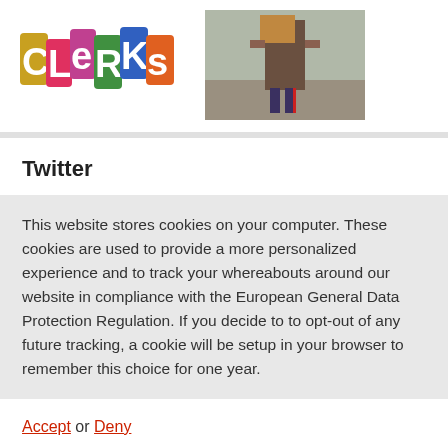[Figure (logo): Clerks colorful logo with letters in different colors and styles]
[Figure (photo): Person carrying a box outdoors on a gravel path]
Twitter
This website stores cookies on your computer. These cookies are used to provide a more personalized experience and to track your whereabouts around our website in compliance with the European General Data Protection Regulation. If you decide to to opt-out of any future tracking, a cookie will be setup in your browser to remember this choice for one year.
Accept or Deny